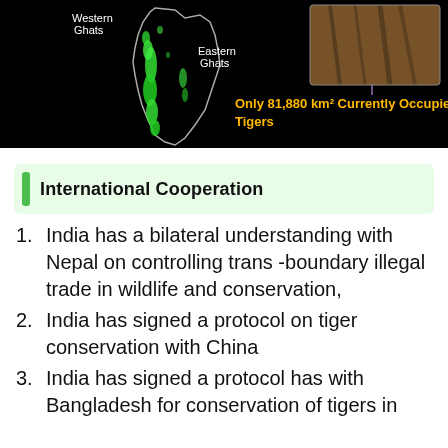[Figure (map): Map of India showing tiger habitat in green (Western Ghats and Eastern Ghats labeled), with a photo of a tiger in the upper right corner, and text: 'Only 81,880 km² Currently Occupied by about 17 hundred Tigers' in yellow/orange on black background.]
International Cooperation
India has a bilateral understanding with Nepal on controlling trans -boundary illegal trade in wildlife and conservation,
India has signed a protocol on tiger conservation with China
India has signed a protocol has with Bangladesh for conservation of tigers in